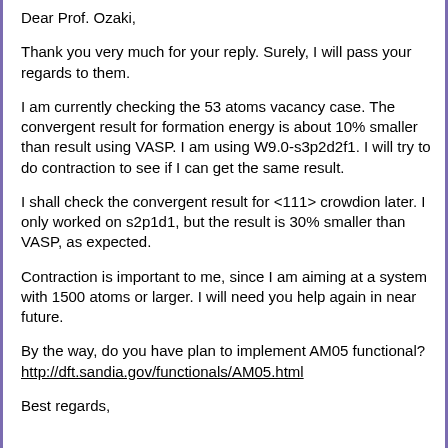Dear Prof. Ozaki,
Thank you very much for your reply. Surely, I will pass your regards to them.
I am currently checking the 53 atoms vacancy case. The convergent result for formation energy is about 10% smaller than result using VASP. I am using W9.0-s3p2d2f1. I will try to do contraction to see if I can get the same result.
I shall check the convergent result for <111> crowdion later. I only worked on s2p1d1, but the result is 30% smaller than VASP, as expected.
Contraction is important to me, since I am aiming at a system with 1500 atoms or larger. I will need you help again in near future.
By the way, do you have plan to implement AM05 functional?
http://dft.sandia.gov/functionals/AM05.html
Best regards,